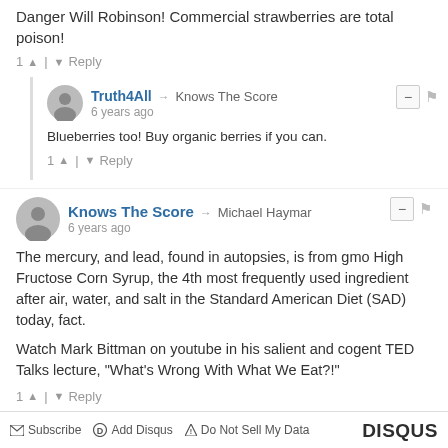Danger Will Robinson! Commercial strawberries are total poison!
1 ↑ | ↓ Reply
Truth4All → Knows The Score
6 years ago
Blueberries too! Buy organic berries if you can.
1 ↑ | ↓ Reply
Knows The Score → Michael Haymar
6 years ago
The mercury, and lead, found in autopsies, is from gmo High Fructose Corn Syrup, the 4th most frequently used ingredient after air, water, and salt in the Standard American Diet (SAD) today, fact.

Watch Mark Bittman on youtube in his salient and cogent TED Talks lecture, "What's Wrong With What We Eat?!"
1 ↑ | ↓ Reply
Subscribe  Add Disqus  Do Not Sell My Data    DISQUS